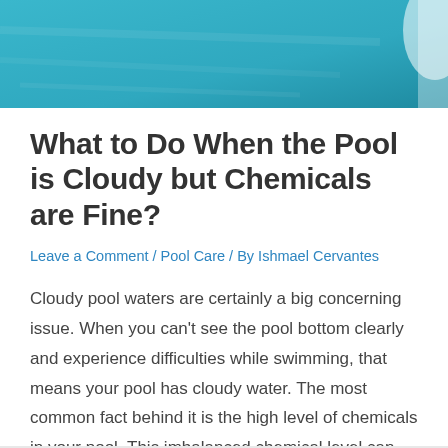[Figure (photo): Top portion of a swimming pool with blue water, partial view cropped at top of page.]
What to Do When the Pool is Cloudy but Chemicals are Fine?
Leave a Comment / Pool Care / By Ishmael Cervantes
Cloudy pool waters are certainly a big concerning issue. When you can't see the pool bottom clearly and experience difficulties while swimming, that means your pool has cloudy water. The most common fact behind it is the high level of chemicals in your pool. This imbalanced chemical level can harm your skin, hair and organs. …
Read More »